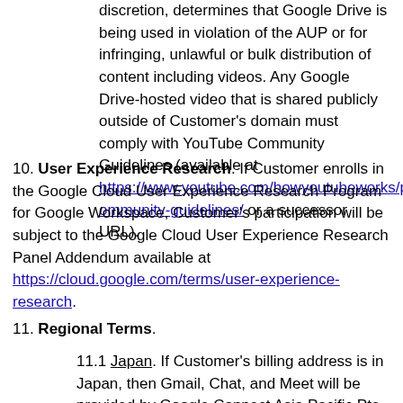Drive usage and, if, in its reasonable discretion, determines that Google Drive is being used in violation of the AUP or for infringing, unlawful or bulk distribution of content including videos. Any Google Drive-hosted video that is shared publicly outside of Customer's domain must comply with YouTube Community Guidelines (available at https://www.youtube.com/howyoutubeworks/policies/community-guidelines/ or a successor URL).
10. User Experience Research. If Customer enrolls in the Google Cloud User Experience Research Program for Google Workspace, Customer's participation will be subject to the Google Cloud User Experience Research Panel Addendum available at https://cloud.google.com/terms/user-experience-research.
11. Regional Terms.
11.1 Japan. If Customer's billing address is in Japan, then Gmail, Chat, and Meet will be provided by Google Connect Asia Pacific Pte. Ltd. ("GCAP"), although invoices will still be sent by Google Asia